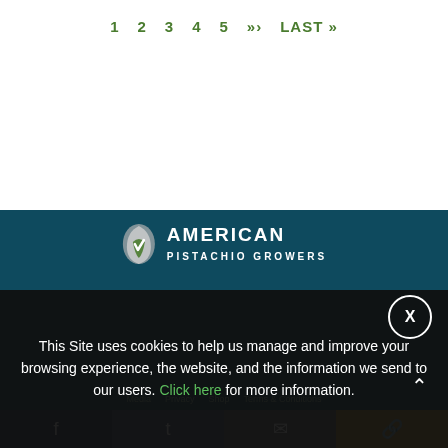1  2  3  4  5  »»  LAST »
[Figure (logo): American Pistachio Growers logo with white pistachio icon and text]
This Site uses cookies to help us manage and improve your browsing experience, the website, and the information we send to our users. Click here for more information.
f  [Twitter bird]  [envelope]  [link icon]